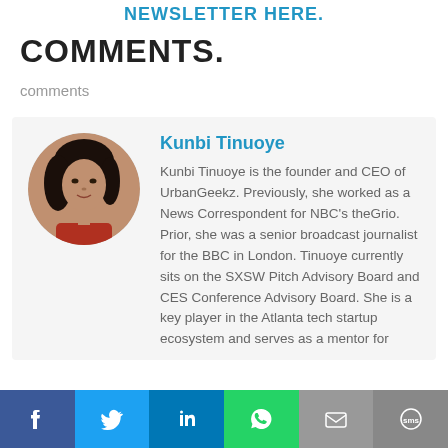NEWSLETTER HERE.
COMMENTS.
comments
[Figure (photo): Circular portrait photo of Kunbi Tinuoye]
Kunbi Tinuoye
Kunbi Tinuoye is the founder and CEO of UrbanGeekz. Previously, she worked as a News Correspondent for NBC's theGrio. Prior, she was a senior broadcast journalist for the BBC in London. Tinuoye currently sits on the SXSW Pitch Advisory Board and CES Conference Advisory Board. She is a key player in the Atlanta tech startup ecosystem and serves as a mentor for
Facebook | Twitter | LinkedIn | WhatsApp | Email | SMS